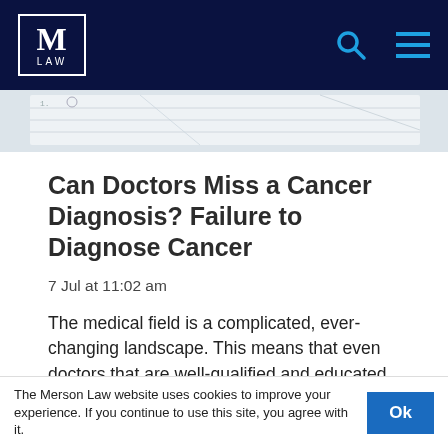M LAW
[Figure (screenshot): Partial image strip showing a document or paper with handwritten notations]
Can Doctors Miss a Cancer Diagnosis? Failure to Diagnose Cancer
7 Jul at 11:02 am
The medical field is a complicated, ever-changing landscape. This means that even doctors that are well-qualified and educated can make…
The Merson Law website uses cookies to improve your experience. If you continue to use this site, you agree with it.